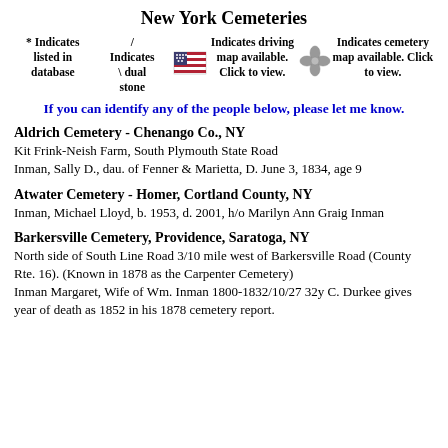New York Cemeteries
* Indicates listed in database / Indicates \ dual stone [flag icon] Indicates driving map available. Click to view. [cross icon] Indicates cemetery map available. Click to view.
If you can identify any of the people below, please let me know.
Aldrich Cemetery - Chenango Co., NY
Kit Frink-Neish Farm, South Plymouth State Road
Inman, Sally D., dau. of Fenner & Marietta, D. June 3, 1834, age 9
Atwater Cemetery - Homer, Cortland County, NY
Inman, Michael Lloyd, b. 1953, d. 2001, h/o Marilyn Ann Graig Inman
Barkersville Cemetery, Providence, Saratoga, NY
North side of South Line Road 3/10 mile west of Barkersville Road (County Rte. 16). (Known in 1878 as the Carpenter Cemetery)
Inman Margaret, Wife of Wm. Inman 1800-1832/10/27 32y C. Durkee gives year of death as 1852 in his 1878 cemetery report.